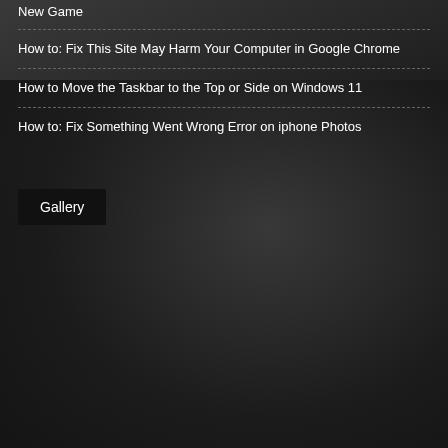New Game
How to: Fix This Site May Harm Your Computer in Google Chrome
How to Move the Taskbar to the Top or Side on Windows 11
How to: Fix Something Went Wrong Error on iphone Photos
Gallery